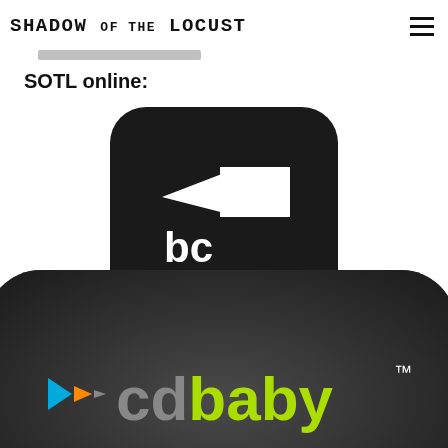SHADOW OF THE LOCUST
SOTL online:
[Figure (logo): Bandcamp logo: black rounded square with white parallelogram and 'bc bandcamp' text]
[Figure (logo): CD Baby logo: dark rounded rectangle with play buttons and 'cdbaby' text in lime green, partially cropped at bottom]